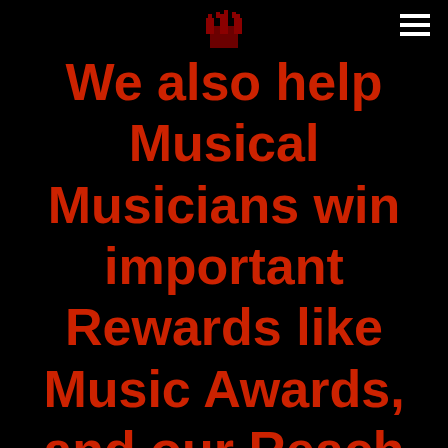[Crown/King logo icon] [hamburger menu]
We also help Musical Musicians win important Rewards like Music Awards, and our Reach and Teach Program with King and Queen Nation helps